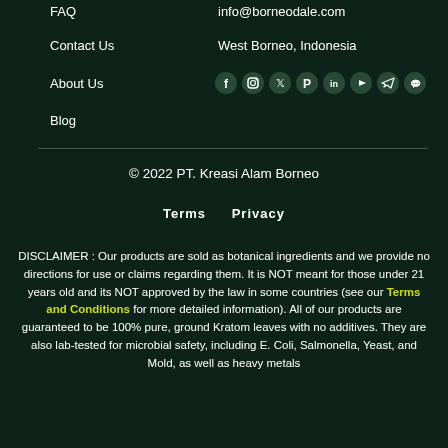FAQ
info@borneodale.com
Contact Us
West Borneo, Indonesia
About Us
[Figure (other): Social media icons: Facebook, Instagram, Twitter, Pinterest, LinkedIn, YouTube, Telegram, Discord]
Blog
© 2022 PT. Kreasi Alam Borneo
Terms   Privacy
DISCLAIMER : Our products are sold as botanical ingredients and we provide no directions for use or claims regarding them. It is NOT meant for those under 21 years old and its NOT approved by the law in some countries (see our Terms and Conditions for more detailed information). All of our products are guaranteed to be 100% pure, ground Kratom leaves with no additives. They are also lab-tested for microbial safety, including E. Coli, Salmonella, Yeast, and Mold, as well as heavy metals